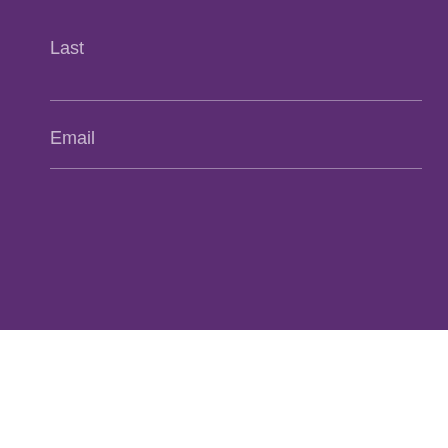Last
Email
Send
[Figure (screenshot): reCAPTCHA widget with circular arrows icon and Privacy - Terms text]
Related Articles